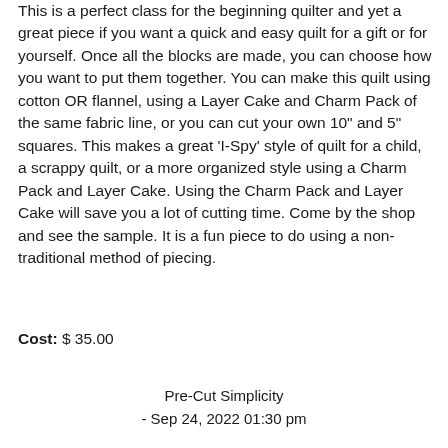This is a perfect class for the beginning quilter and yet a great piece if you want a quick and easy quilt for a gift or for yourself. Once all the blocks are made, you can choose how you want to put them together. You can make this quilt using cotton OR flannel, using a Layer Cake and Charm Pack of the same fabric line, or you can cut your own 10" and 5" squares. This makes a great 'I-Spy' style of quilt for a child, a scrappy quilt, or a more organized style using a Charm Pack and Layer Cake. Using the Charm Pack and Layer Cake will save you a lot of cutting time. Come by the shop and see the sample. It is a fun piece to do using a non-traditional method of piecing.
Cost: $ 35.00
Pre-Cut Simplicity - Sep 24, 2022 01:30 pm